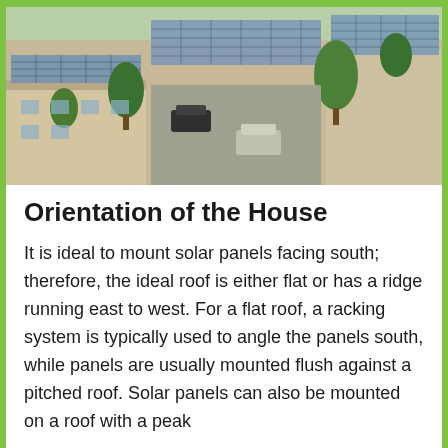[Figure (photo): Aerial view of residential buildings with solar panels installed on rooftops, with trees and parked cars visible]
Orientation of the House
It is ideal to mount solar panels facing south; therefore, the ideal roof is either flat or has a ridge running east to west. For a flat roof, a racking system is typically used to angle the panels south, while panels are usually mounted flush against a pitched roof. Solar panels can also be mounted on a roof with a peak